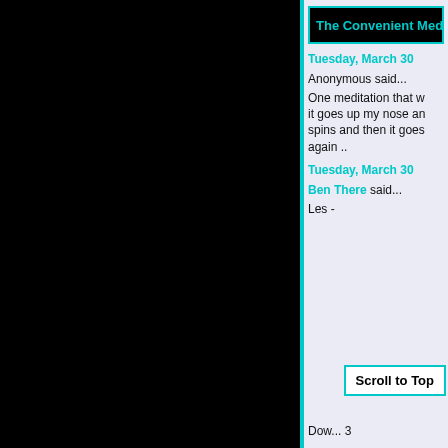The Convenient Med
Tuesday, March 30
Anonymous said...
One meditation that w... it goes up my nose an... spins and then it goes... again ..
Tuesday, March 30
Ben There said...
Les -
Dow... 3